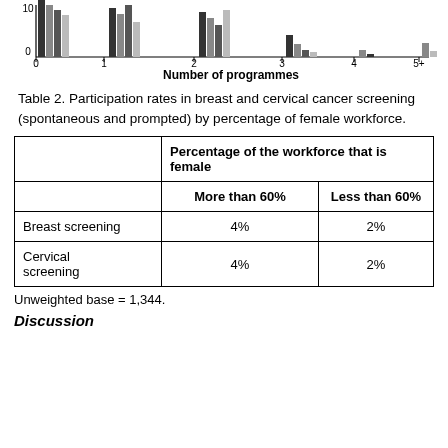[Figure (other): Top portion of a grouped bar chart showing country flags along the top and bars for number of programmes (x-axis: 0, 1, 2, 3, 4, 5+), y-axis showing values up to 10. Only the bottom portion of the chart is visible including axes and x-axis label 'Number of programmes'.]
Table 2. Participation rates in breast and cervical cancer screening (spontaneous and prompted) by percentage of female workforce.
|  | Percentage of the workforce that is female |  |
| --- | --- | --- |
|  | More than 60% | Less than 60% |
| Breast screening | 4% | 2% |
| Cervical screening | 4% | 2% |
Unweighted base = 1,344.
Discussion